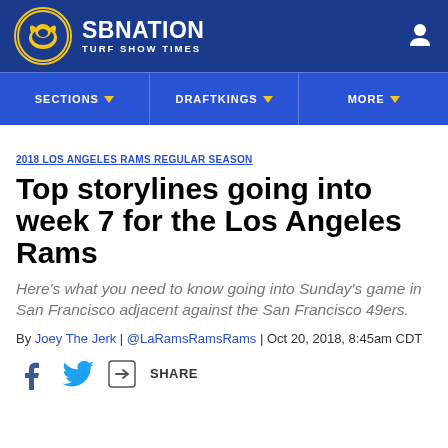SB NATION TURF SHOW TIMES
SECTIONS | DRAFTKINGS | MORE
2018 LOS ANGELES RAMS REGULAR SEASON
Top storylines going into week 7 for the Los Angeles Rams
Here's what you need to know going into Sunday's game in San Francisco adjacent against the San Francisco 49ers.
By Joey The Jerk | @LaRamsRamsRams | Oct 20, 2018, 8:45am CDT
[Figure (other): Social share buttons: Facebook, Twitter, Share]